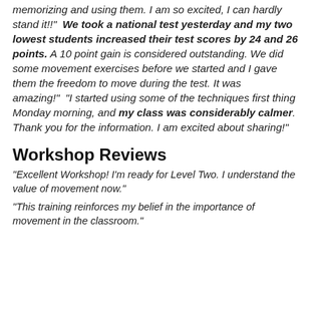memorizing and using them. I am so excited, I can hardly stand it!!  "We took a national test yesterday and my two lowest students increased their test scores by 24 and 26 points. A 10 point gain is considered outstanding. We did some movement exercises before we started and I gave them the freedom to move during the test. It was amazing!"  "I started using some of the techniques first thing Monday morning, and my class was considerably calmer. Thank you for the information. I am excited about sharing!"
Workshop Reviews
"Excellent Workshop! I'm ready for Level Two. I understand the value of movement now."
"This training reinforces my belief in the importance of movement in the classroom."